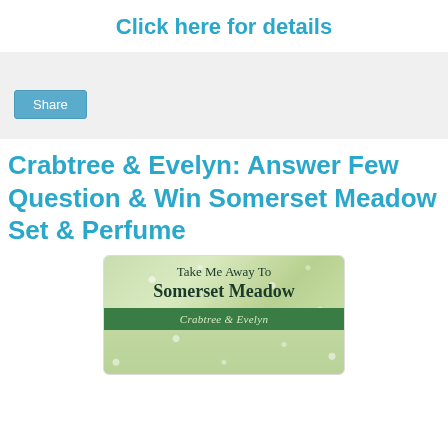Click here for details
[Figure (other): Share button UI element on grey background]
Crabtree & Evelyn: Answer Few Question & Win Somerset Meadow Set & Perfume
[Figure (photo): Crabtree & Evelyn Somerset Meadow product promotional image with green floral background, text reading 'Take Me Away To Somerset Meadow' and a green banner with 'Crabtree & Evelyn' branding]